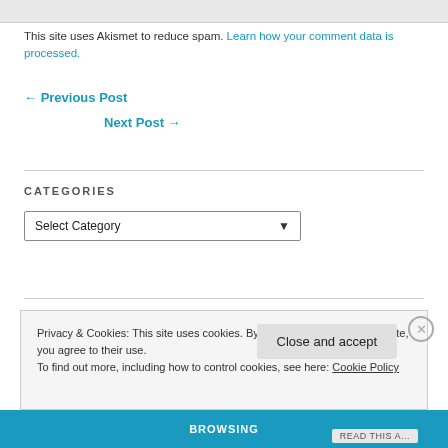This site uses Akismet to reduce spam. Learn how your comment data is processed.
← Previous Post
Next Post →
CATEGORIES
Select Category
Privacy & Cookies: This site uses cookies. By continuing to use this website, you agree to their use.
To find out more, including how to control cookies, see here: Cookie Policy
Close and accept